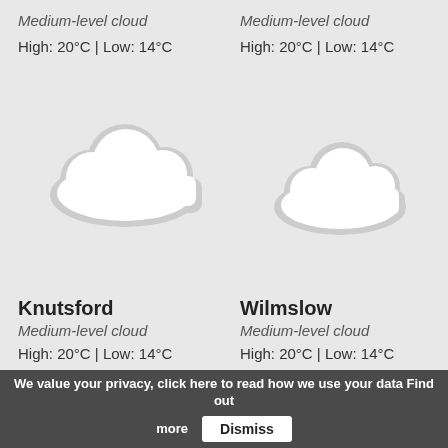Medium-level cloud
High: 20°C | Low: 14°C
Medium-level cloud
High: 20°C | Low: 14°C
[Figure (illustration): Cloud weather icon (left), light gray outline cloud shape]
[Figure (illustration): Cloud weather icon (right), light gray outline cloud shape]
Knutsford
Medium-level cloud
High: 20°C | Low: 14°C
Wilmslow
Medium-level cloud
High: 20°C | Low: 14°C
We value your privacy, click here to read how we use your data Find out more
Dismiss